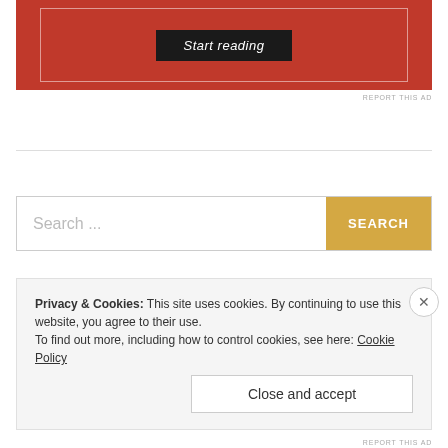[Figure (screenshot): Red advertisement banner with a dark 'Start reading' button inside a white-bordered rectangle]
REPORT THIS AD
Search ...
SEARCH
Privacy & Cookies: This site uses cookies. By continuing to use this website, you agree to their use.
To find out more, including how to control cookies, see here: Cookie Policy
Close and accept
REPORT THIS AD